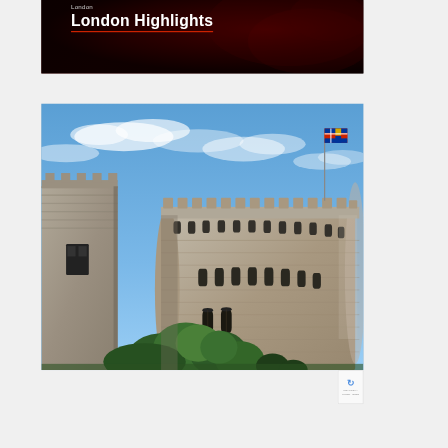London Highlights
London
[Figure (photo): Photograph of Windsor Castle showing the Round Tower with battlements and arched windows, a flag flying at the top, blue sky with clouds, and trees in the foreground. A square tower section is visible on the left side.]